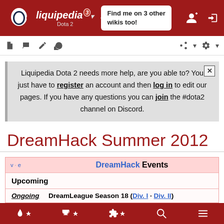liquipedia Dota 2 — Find me on 3 other wikis too!
Liquipedia Dota 2 needs more help, are you able to? You just have to register an account and then log in to edit our pages. If you have any questions you can join the #dota2 channel on Discord.
DreamHack Summer 2012
| v · e | DreamHack Events |
| --- | --- |
| Upcoming |  |
| Ongoing | DreamLeague Season 18 (Div. I · Div. II) |
Bottom navigation bar with icons